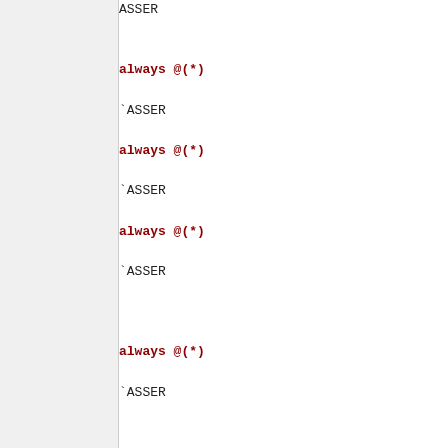[Figure (screenshot): Source code listing in SystemVerilog/Verilog showing 'always @(*)', 'always @(posedge ...)', 'if', 'begin', 'else if', 'end', 'endgenerate' keywords in red bold with associated ASSERT and logic statements. Left panel is a grey sidebar. Right panel contains code.]